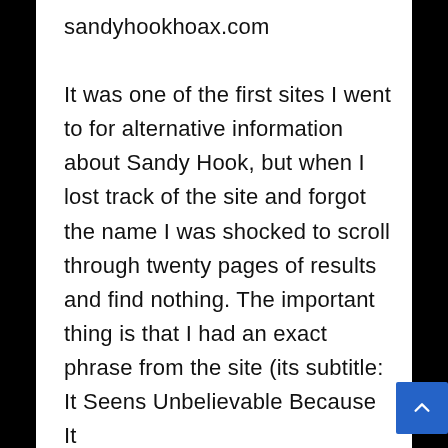sandyhookhoax.com
It was one of the first sites I went to for alternative information about Sandy Hook, but when I lost track of the site and forgot the name I was shocked to scroll through twenty pages of results and find nothing. The important thing is that I had an exact phrase from the site (its subtitle: It Seens Unbelievable Because It